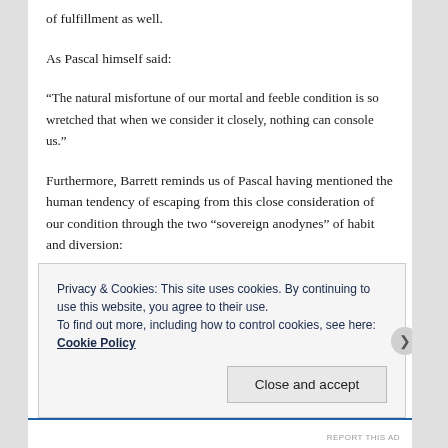of fulfillment as well.
As Pascal himself said:
“The natural misfortune of our mortal and feeble condition is so wretched that when we consider it closely, nothing can console us.”
Furthermore, Barrett reminds us of Pascal having mentioned the human tendency of escaping from this close consideration of our condition through the two “sovereign anodynes” of habit and diversion:
“Both habit and diversion, so long as they work, conceal from
Privacy & Cookies: This site uses cookies. By continuing to use this website, you agree to their use.
To find out more, including how to control cookies, see here: Cookie Policy
Close and accept